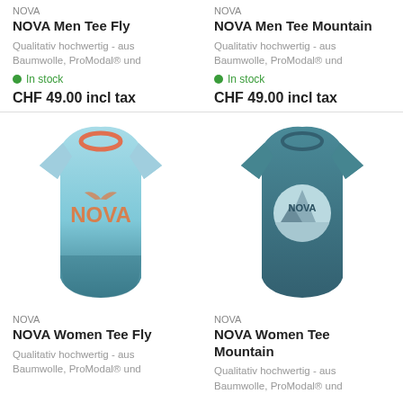NOVA
NOVA Men Tee Fly
Qualitativ hochwertig - aus Baumwolle, ProModal® und
In stock
CHF 49.00 incl tax
NOVA
NOVA Men Tee Mountain
Qualitativ hochwertig - aus Baumwolle, ProModal® und
In stock
CHF 49.00 incl tax
[Figure (photo): Light blue/teal gradient women's t-shirt with NOVA logo in orange text]
[Figure (photo): Dark teal women's t-shirt with NOVA mountain circle graphic]
NOVA
NOVA Women Tee Fly
Qualitativ hochwertig - aus Baumwolle, ProModal® und
NOVA
NOVA Women Tee Mountain
Qualitativ hochwertig - aus Baumwolle, ProModal® und